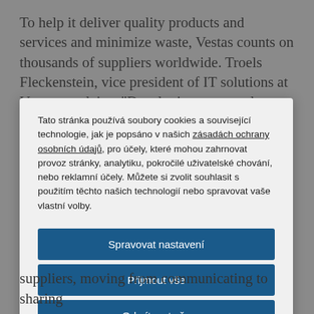To help it deliver quality products and services and minimize waste, Vestas counts on thousands of suppliers worldwide. Troels Fleckenstein, vice president of IT solutions at Vestas, explains. "Developing our supply chain and supplier base as we penetrate new markets is critical."
Tato stránka používá soubory cookies a související technologie, jak je popsáno v našich zásadách ochrany osobních údajů, pro účely, které mohou zahrnovat provoz stránky, analytiku, pokročilé uživatelské chování, nebo reklamní účely. Můžete si zvolit souhlasit s použitím těchto našich technologií nebo spravovat vaše vlastní volby.
Spravovat nastavení
Přijmout vše
Odmítnout vše
Prohlášení o souborech cookies
suppliers, moving from communicating to sharing